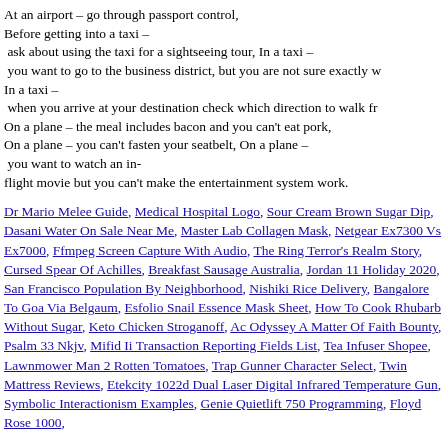At an airport – go through passport control, Before getting into a taxi – ask about using the taxi for a sightseeing tour, In a taxi – you want to go to the business district, but you are not sure exactly w In a taxi – when you arrive at your destination check which direction to walk fr On a plane – the meal includes bacon and you can't eat pork, On a plane – you can't fasten your seatbelt, On a plane – you want to watch an in-flight movie but you can't make the entertainment system work.
Dr Mario Melee Guide, Medical Hospital Logo, Sour Cream Brown Sugar Dip, Dasani Water On Sale Near Me, Master Lab Collagen Mask, Netgear Ex7300 Vs Ex7000, Ffmpeg Screen Capture With Audio, The Ring Terror's Realm Story, Cursed Spear Of Achilles, Breakfast Sausage Australia, Jordan 11 Holiday 2020, San Francisco Population By Neighborhood, Nishiki Rice Delivery, Bangalore To Goa Via Belgaum, Esfolio Snail Essence Mask Sheet, How To Cook Rhubarb Without Sugar, Keto Chicken Stroganoff, Ac Odyssey A Matter Of Faith Bounty, Psalm 33 Nkjv, Mifid Ii Transaction Reporting Fields List, Tea Infuser Shopee, Lawnmower Man 2 Rotten Tomatoes, Trap Gunner Character Select, Twin Mattress Reviews, Etekcity 1022d Dual Laser Digital Infrared Temperature Gun, Symbolic Interactionism Examples, Genie Quietlift 750 Programming, Floyd Rose 1000,